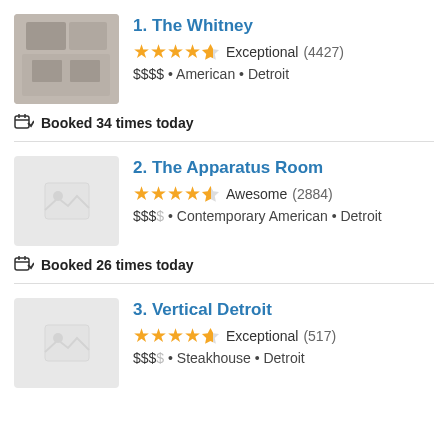1. The Whitney — ★★★★½ Exceptional (4427) — $$$$ • American • Detroit
Booked 34 times today
2. The Apparatus Room — ★★★★½ Awesome (2884) — $$$$ • Contemporary American • Detroit
Booked 26 times today
3. Vertical Detroit — ★★★★½ Exceptional (517) — $$$$ • Steakhouse • Detroit